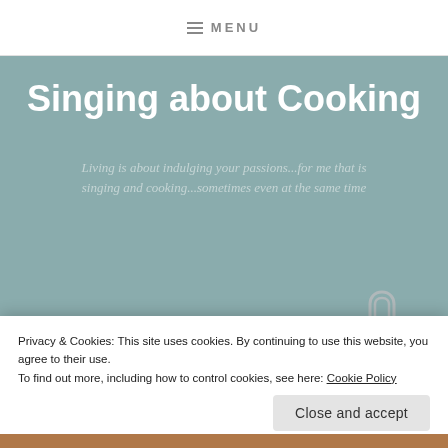≡ MENU
Singing about Cooking
Living is about indulging your passions...for me that is singing and cooking...sometimes even at the same time
TAG: GINGER AIOLI
Privacy & Cookies: This site uses cookies. By continuing to use this website, you agree to their use.
To find out more, including how to control cookies, see here: Cookie Policy
Close and accept